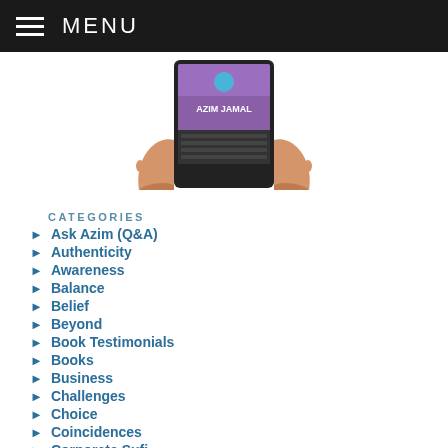MENU
[Figure (photo): Hands holding a tablet/e-reader displaying an Azim Jamal book cover with purple background]
CATEGORIES
Ask Azim (Q&A)
Authenticity
Awareness
Balance
Belief
Beyond
Book Testimonials
Books
Business
Challenges
Choice
Coincidences
Corporate Sufi